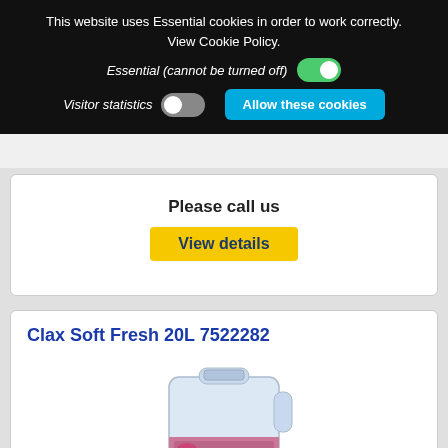This website uses Essential cookies in order to work correctly.
View Cookie Policy.
Essential (cannot be turned off)
Visitor statistics
Allow these cookies
Please call us
View details
Clax Soft Fresh 20L 7522282
[Figure (photo): Product image of Clax Soft Fresh 20L container, a large white/light blue jug with a pink label]